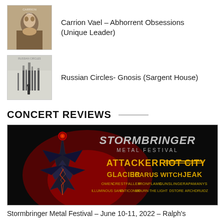Carrion Vael – Abhorrent Obsessions (Unique Leader)
Russian Circles- Gnosis (Sargent House)
CONCERT REVIEWS
[Figure (photo): Stormbringer Metal Festival promotional banner with red demonic imagery and band names: Attacker, Riot City, Glacier, Icarus Witch, Jeak, and others on a dark background.]
Stormbringer Metal Festival – June 10-11, 2022 – Ralph's